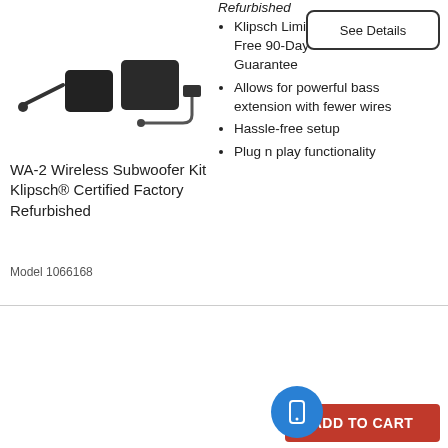[Figure (photo): Product image of WA-2 Wireless Subwoofer Kit components including transmitter box, receiver box, and power adapter]
Refurbished
Klipsch Limited Warranty + Free 90-Day Return Guarantee
Allows for powerful bass extension with fewer wires
Hassle-free setup
Plug n play functionality
See Details
WA-2 Wireless Subwoofer Kit Klipsch® Certified Factory Refurbished
Model 1066168
[Figure (logo): Klipsch brand logo in white italic text on black background]
$746.10
[Figure (photo): Klipsch product banner with text: TRUE ENTERTAINMENT WIRELESS SIMPLICITY HOME and image of a subwoofer]
ADD TO CART